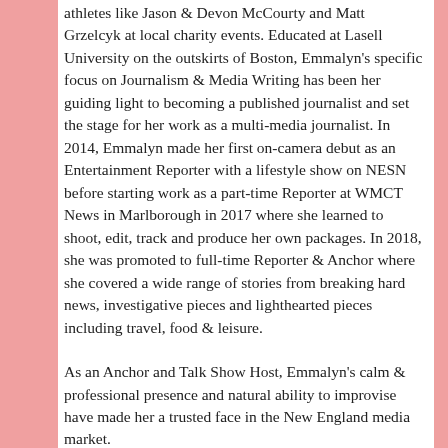athletes like Jason & Devon McCourty and Matt Grzelcyk at local charity events. Educated at Lasell University on the outskirts of Boston, Emmalyn's specific focus on Journalism & Media Writing has been her guiding light to becoming a published journalist and set the stage for her work as a multi-media journalist. In 2014, Emmalyn made her first on-camera debut as an Entertainment Reporter with a lifestyle show on NESN before starting work as a part-time Reporter at WMCT News in Marlborough in 2017 where she learned to shoot, edit, track and produce her own packages. In 2018, she was promoted to full-time Reporter & Anchor where she covered a wide range of stories from breaking hard news, investigative pieces and lighthearted pieces including travel, food & leisure.
As an Anchor and Talk Show Host, Emmalyn's calm & professional presence and natural ability to improvise have made her a trusted face in the New England media market.